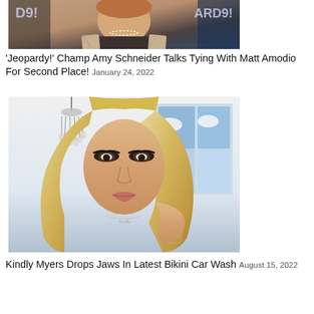[Figure (photo): Amy Schneider on Jeopardy set, older woman with pearl necklace and beige cardigan]
'Jeopardy!' Champ Amy Schneider Talks Tying With Matt Amodio For Second Place! January 24, 2022
[Figure (photo): Kindly Myers, blonde woman with long hair, heavy makeup, holding hair, wearing necklace, indoor setting with chandelier]
Kindly Myers Drops Jaws In Latest Bikini Car Wash August 15, 2022